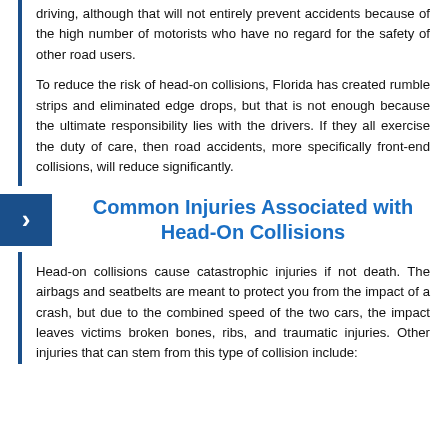driving, although that will not entirely prevent accidents because of the high number of motorists who have no regard for the safety of other road users.
To reduce the risk of head-on collisions, Florida has created rumble strips and eliminated edge drops, but that is not enough because the ultimate responsibility lies with the drivers. If they all exercise the duty of care, then road accidents, more specifically front-end collisions, will reduce significantly.
Common Injuries Associated with Head-On Collisions
Head-on collisions cause catastrophic injuries if not death. The airbags and seatbelts are meant to protect you from the impact of a crash, but due to the combined speed of the two cars, the impact leaves victims broken bones, ribs, and traumatic injuries. Other injuries that can stem from this type of collision include: